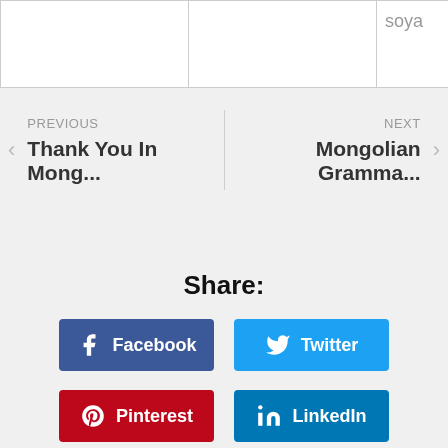|  |  | soya |
PREVIOUS
Thank You In Mong...
NEXT
Mongolian Gramma...
Share:
Facebook
Twitter
Pinterest
LinkedIn